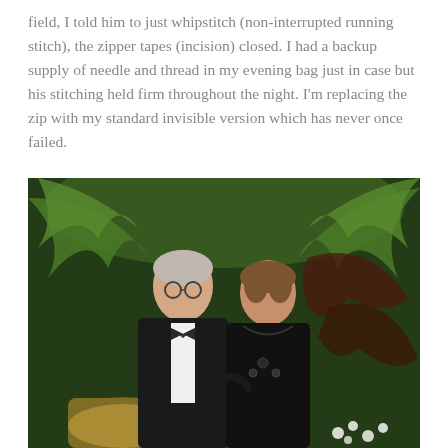field, I told him to just whipstitch (non-interrupted running stitch), the zipper tapes (incision) closed. I had a backup supply of needle and thread in my evening bag just in case but his stitching held firm throughout the night. I'm replacing the zip with my standard invisible version which has never once failed.
[Figure (photo): A couple dressed in formal attire (man in tuxedo with bow tie, woman in dark dress) posing together in front of lush tropical green plants and foliage indoors.]